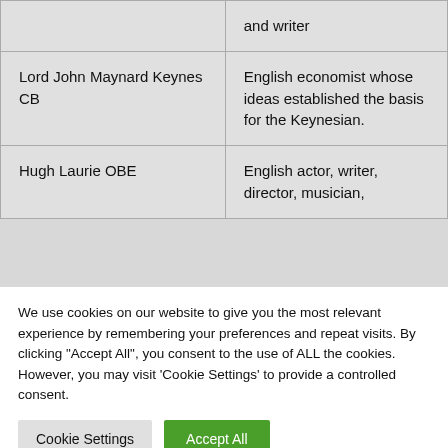|  | and writer |
| Lord John Maynard Keynes CB | English economist whose ideas established the basis for the Keynesian. |
| Hugh Laurie OBE | English actor, writer, director, musician, |
We use cookies on our website to give you the most relevant experience by remembering your preferences and repeat visits. By clicking "Accept All", you consent to the use of ALL the cookies. However, you may visit 'Cookie Settings' to provide a controlled consent.